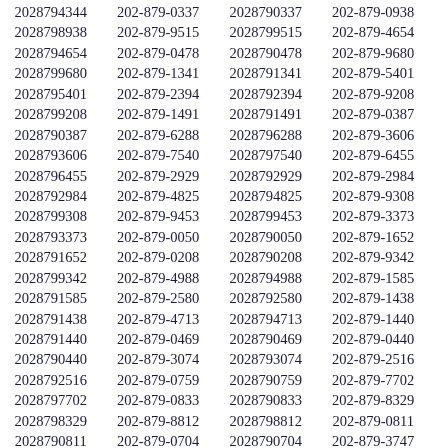| 2028794344 | 202-879-0337 | 2028790337 | 202-879-0938 |
| 2028798938 | 202-879-9515 | 2028799515 | 202-879-4654 |
| 2028794654 | 202-879-0478 | 2028790478 | 202-879-9680 |
| 2028799680 | 202-879-1341 | 2028791341 | 202-879-5401 |
| 2028795401 | 202-879-2394 | 2028792394 | 202-879-9208 |
| 2028799208 | 202-879-1491 | 2028791491 | 202-879-0387 |
| 2028790387 | 202-879-6288 | 2028796288 | 202-879-3606 |
| 2028793606 | 202-879-7540 | 2028797540 | 202-879-6455 |
| 2028796455 | 202-879-2929 | 2028792929 | 202-879-2984 |
| 2028792984 | 202-879-4825 | 2028794825 | 202-879-9308 |
| 2028799308 | 202-879-9453 | 2028799453 | 202-879-3373 |
| 2028793373 | 202-879-0050 | 2028790050 | 202-879-1652 |
| 2028791652 | 202-879-0208 | 2028790208 | 202-879-9342 |
| 2028799342 | 202-879-4988 | 2028794988 | 202-879-1585 |
| 2028791585 | 202-879-2580 | 2028792580 | 202-879-1438 |
| 2028791438 | 202-879-4713 | 2028794713 | 202-879-1440 |
| 2028791440 | 202-879-0469 | 2028790469 | 202-879-0440 |
| 2028790440 | 202-879-3074 | 2028793074 | 202-879-2516 |
| 2028792516 | 202-879-0759 | 2028790759 | 202-879-7702 |
| 2028797702 | 202-879-0833 | 2028790833 | 202-879-8329 |
| 2028798329 | 202-879-8812 | 2028798812 | 202-879-0811 |
| 2028790811 | 202-879-0704 | 2028790704 | 202-879-3747 |
| 2028793747 | 202-879-5560 | 2028795560 | 202-879-3911 |
| 2028793911 | 202-879-5988 | 2028795988 | 202-879-5532 |
| 2028795532 | 202-879-4527 | 2028794527 | 202-879-2131 |
| 2028792131 | 202-879-7088 | 2028797088 | 202-879-0578 |